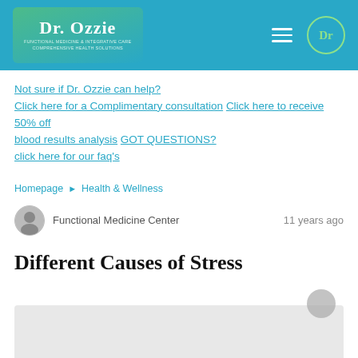Dr. Ozzie
Not sure if Dr. Ozzie can help? Click here for a Complimentary consultation Click here to receive 50% off blood results analysis GOT QUESTIONS? click here for our faq's
Homepage ► Health & Wellness
Functional Medicine Center    11 years ago
Different Causes of Stress
[Figure (photo): Image placeholder at bottom of page, light gray background]